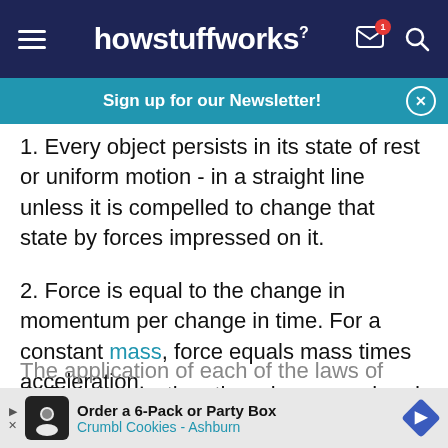howstuffworks
Sign up for our Newsletter!
1. Every object persists in its state of rest or uniform motion - in a straight line unless it is compelled to change that state by forces impressed on it.
2. Force is equal to the change in momentum per change in time. For a constant mass, force equals mass times acceleration.
3. For every action, there is an equal and opposite reaction.
Order a 6-Pack or Party Box Crumbl Cookies - Ashburn